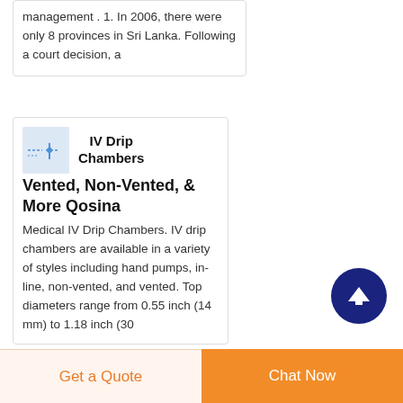management . 1. In 2006, there were only 8 provinces in Sri Lanka. Following a court decision, a
[Figure (illustration): Small thumbnail image of IV drip chamber equipment with dashed lines on light blue background]
IV Drip Chambers
Vented, Non-Vented, & More Qosina
Medical IV Drip Chambers. IV drip chambers are available in a variety of styles including hand pumps, in-line, non-vented, and vented. Top diameters range from 0.55 inch (14 mm) to 1.18 inch (30
[Figure (other): Dark navy blue circle with upward arrow icon (scroll to top button)]
Get a Quote
Chat Now